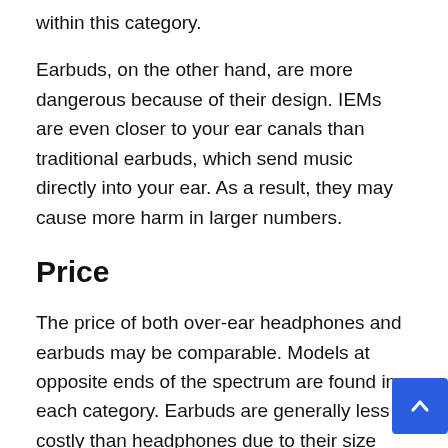within this category.
Earbuds, on the other hand, are more dangerous because of their design. IEMs are even closer to your ear canals than traditional earbuds, which send music directly into your ear. As a result, they may cause more harm in larger numbers.
Price
The price of both over-ear headphones and earbuds may be comparable. Models at opposite ends of the spectrum are found in each category. Earbuds are generally less costly than headphones due to their size and the number of materials required to make them.